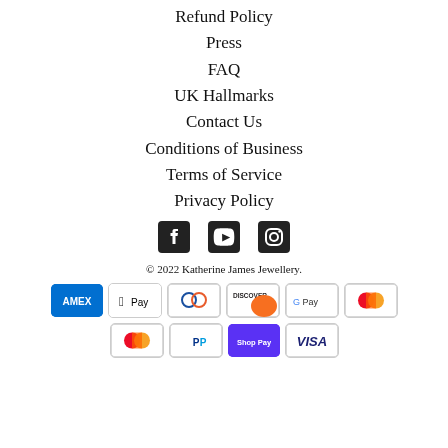Refund Policy
Press
FAQ
UK Hallmarks
Contact Us
Conditions of Business
Terms of Service
Privacy Policy
[Figure (infographic): Social media icons: Facebook, YouTube, Instagram]
© 2022 Katherine James Jewellery.
[Figure (infographic): Payment method icons: Amex, Apple Pay, Diners Club, Discover, Google Pay, Mastercard (top row); Mastercard, PayPal, Shop Pay, Visa (bottom row)]